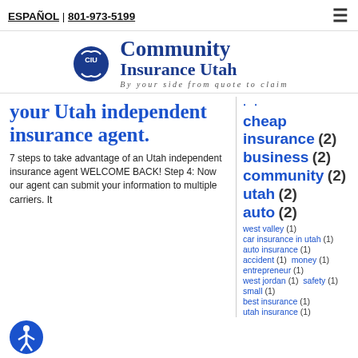ESPAÑOL | 801-973-5199
[Figure (logo): Community Insurance Utah logo with CIU shield icon and tagline 'By your side from quote to claim']
your Utah independent insurance agent.
7 steps to take advantage of an Utah independent insurance agent WELCOME BACK! Step 4: Now our agent can submit your information to multiple carriers. It
cheap insurance (2)
business (2)
community (2)
utah (2)
auto (2)
west valley (1)
car insurance in utah (1)
auto insurance (1)
accident (1)  money (1)
entrepreneur (1)
west jordan (1)  safety (1)
small (1)
best insurance (1)
utah insurance (1)